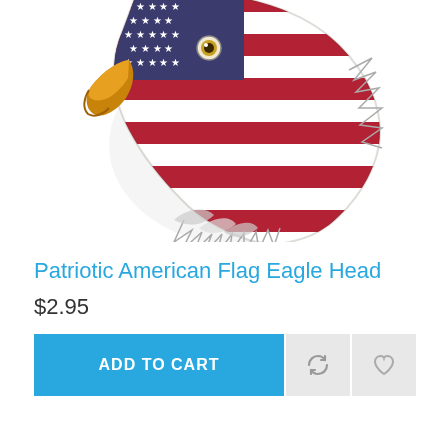[Figure (illustration): Illustrated bald eagle head composed of American flag pattern — red, white, and blue stripes with stars on the upper portion, stylized feathers in gray and white, golden beak on left side, facing left.]
Patriotic American Flag Eagle Head
$2.95
ADD TO CART